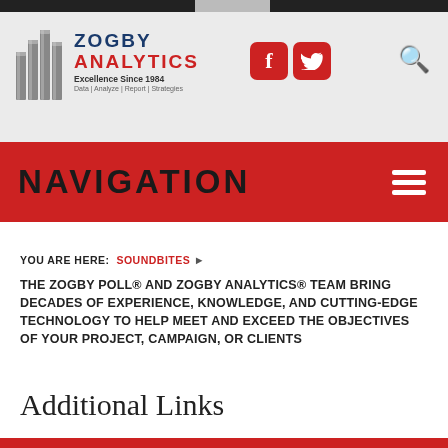Zogby Analytics — Excellence Since 1984 — Data | Analyze | Report | Strategies
NAVIGATION
YOU ARE HERE: SOUNDBITES ▶
THE ZOGBY POLL® AND ZOGBY ANALYTICS® TEAM BRING DECADES OF EXPERIENCE, KNOWLEDGE, AND CUTTING-EDGE TECHNOLOGY TO HELP MEET AND EXCEED THE OBJECTIVES OF YOUR PROJECT, CAMPAIGN, OR CLIENTS
Additional Links